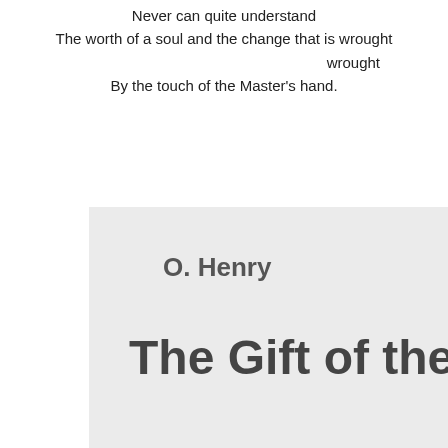Never can quite understand
The worth of a soul and the change that is wrought
By the touch of the Master's hand.
[Figure (illustration): Gray box containing author name 'O. Henry' and partial book title 'The Gift of the M' (cut off at right edge)]